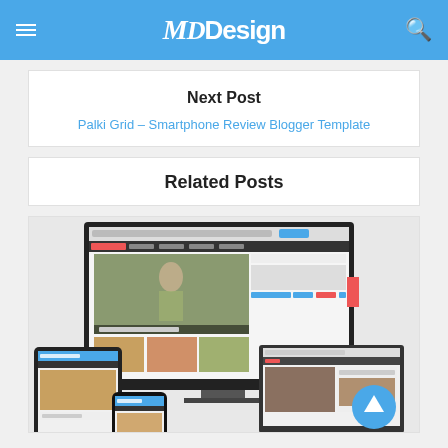MDDesign
Next Post
Palki Grid – Smartphone Review Blogger Template
Related Posts
[Figure (screenshot): Screenshot of a blogger template displayed across multiple devices: desktop monitor, tablet, and smartphone, showing a news/blog layout called Micro Blog]